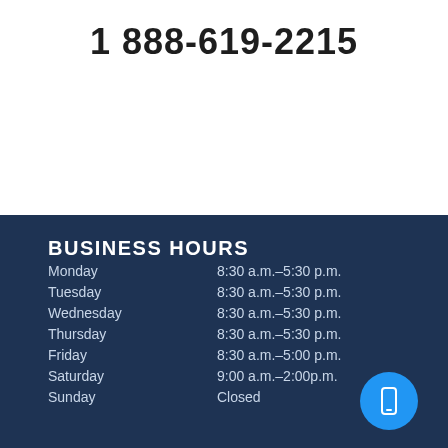1 888-619-2215
BUSINESS HOURS
| Day | Hours |
| --- | --- |
| Monday | 8:30 a.m.–5:30 p.m. |
| Tuesday | 8:30 a.m.–5:30 p.m. |
| Wednesday | 8:30 a.m.–5:30 p.m. |
| Thursday | 8:30 a.m.–5:30 p.m. |
| Friday | 8:30 a.m.–5:00 p.m. |
| Saturday | 9:00 a.m.–2:00p.m. |
| Sunday | Closed |
[Figure (illustration): Blue circular button with a white smartphone icon]